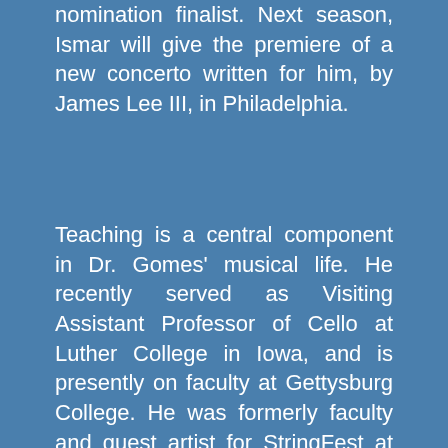nomination finalist. Next season, Ismar will give the premiere of a new concerto written for him, by James Lee III, in Philadelphia.
Teaching is a central component in Dr. Gomes' musical life. He recently served as Visiting Assistant Professor of Cello at Luther College in Iowa, and is presently on faculty at Gettysburg College. He was formerly faculty and guest artist for StringFest at Merkin Hall, Performing Arts Institute at Wyoming Seminary, CIM Summer Chamber Music, and Young Artist at the Three Bridges International Music Festival – he is currently a Faculty Artist at the Rushmore Music Festival, the Balti...